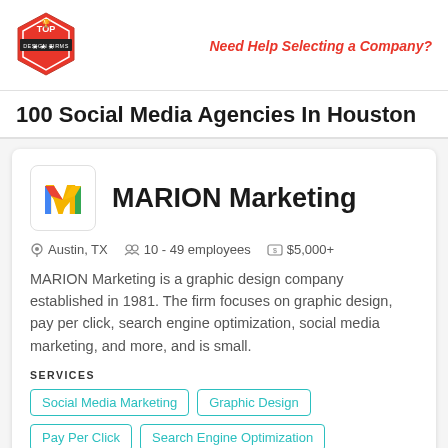Need Help Selecting a Company?
100 Social Media Agencies In Houston
MARION Marketing
Austin, TX   10 - 49 employees   $5,000+
MARION Marketing is a graphic design company established in 1981. The firm focuses on graphic design, pay per click, search engine optimization, social media marketing, and more, and is small.
SERVICES
Social Media Marketing
Graphic Design
Pay Per Click
Search Engine Optimization